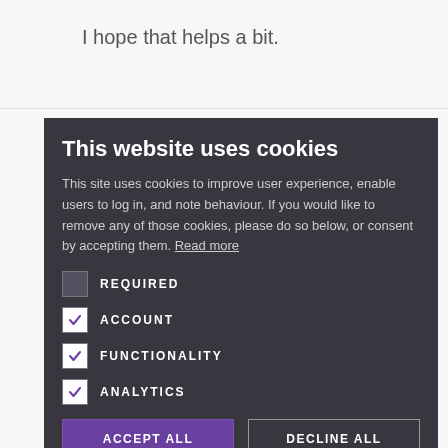I hope that helps a bit.
All the best,
This website uses cookies
This site uses cookies to improve user experience, enable users to log in, and note behaviour. If you would like to remove any of those cookies, please do so below, or consent by accepting them. Read more
REQUIRED
ACCOUNT
FUNCTIONALITY
ANALYTICS
ACCEPT ALL
DECLINE ALL
Click here to read our Privacy Policy